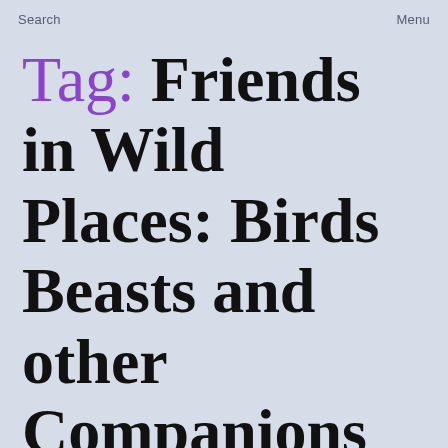Search    Menu
Tag: Friends in Wild Places: Birds Beasts and other Companions
CONTENTS
Borderless, March